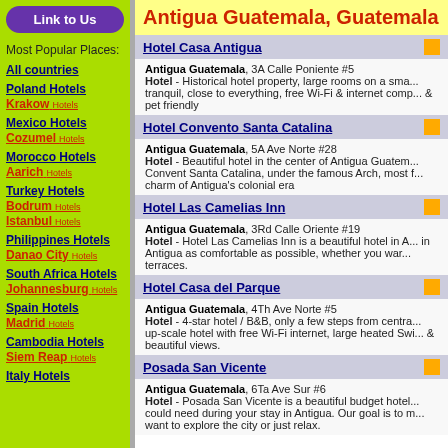Antigua Guatemala, Guatemala
Link to Us
Most Popular Places:
All countries
Poland Hotels / Krakow Hotels
Mexico Hotels / Cozumel Hotels
Morocco Hotels / Aarich Hotels
Turkey Hotels / Bodrum Hotels / Istanbul Hotels
Philippines Hotels / Danao City Hotels
South Africa Hotels / Johannesburg Hotels
Spain Hotels / Madrid Hotels
Cambodia Hotels / Siem Reap Hotels
Italy Hotels
Hotel Casa Antigua
Antigua Guatemala, 3A Calle Poniente #5
Hotel - Historical hotel property, large rooms on a sma... tranquil, close to everything, free Wi-Fi & internet comp... & pet friendly
Hotel Convento Santa Catalina
Antigua Guatemala, 5A Ave Norte #28
Hotel - Beautiful hotel in the center of Antigua Guatem... Convent Santa Catalina, under the famous Arch, most f... charm of Antigua's colonial era
Hotel Las Camelias Inn
Antigua Guatemala, 3Rd Calle Oriente #19
Hotel - Hotel Las Camelias Inn is a beautiful hotel in A... in Antigua as comfortable as possible, whether you war... terraces.
Hotel Casa del Parque
Antigua Guatemala, 4Th Ave Norte #5
Hotel - 4-star hotel / B&B, only a few steps from centra... up-scale hotel with free Wi-Fi internet, large heated Swi... & beautiful views.
Posada San Vicente
Antigua Guatemala, 6Ta Ave Sur #6
Hotel - Posada San Vicente is a beautiful budget hotel... could need during your stay in Antigua. Our goal is to m... want to explore the city or just relax.